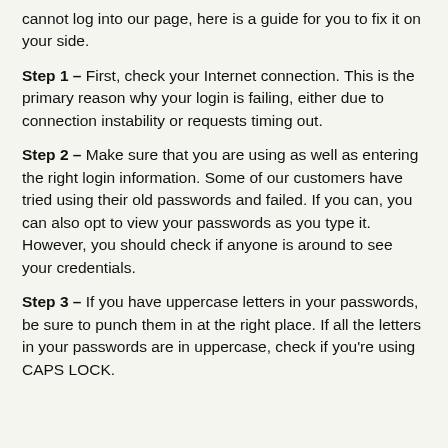cannot log into our page, here is a guide for you to fix it on your side.
Step 1 – First, check your Internet connection. This is the primary reason why your login is failing, either due to connection instability or requests timing out.
Step 2 – Make sure that you are using as well as entering the right login information. Some of our customers have tried using their old passwords and failed. If you can, you can also opt to view your passwords as you type it. However, you should check if anyone is around to see your credentials.
Step 3 – If you have uppercase letters in your passwords, be sure to punch them in at the right place. If all the letters in your passwords are in uppercase, check if you're using CAPS LOCK.